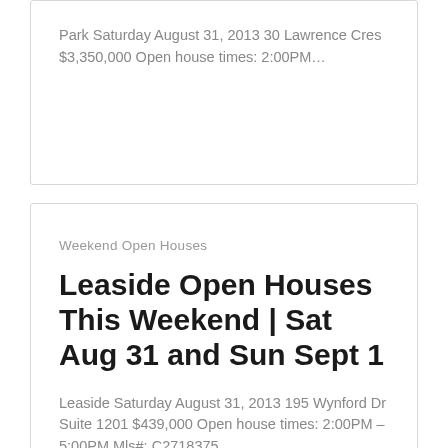Park Saturday August 31, 2013 30 Lawrence Cres $3,350,000 Open house times: 2:00PM…
Weekend Open Houses
Leaside Open Houses This Weekend | Sat Aug 31 and Sun Sept 1
Leaside Saturday August 31, 2013 195 Wynford Dr Suite 1201 $439,000 Open house times: 2:00PM – 5:00PM Mls#: C2718375  …